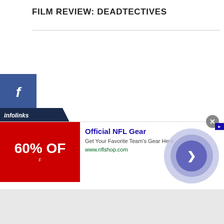FILM REVIEW: DEADTECTIVES
[Figure (screenshot): Social media share buttons on left side: Facebook (blue), Twitter (light blue), Pinterest (red), LinkedIn (teal). Below is an infolinks bar. An advertisement for Official NFL Gear is shown at the bottom with red image showing 60% OFF, ad title, description, URL, close button, and animated arrow circle.]
Official NFL Gear
Get Your Favorite Team's Gear Here
www.nflshop.com